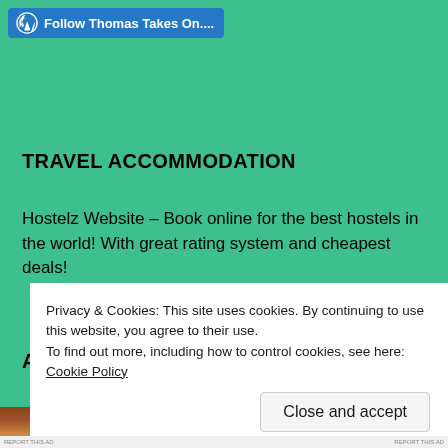Follow Thomas Takes On....
TRAVEL ACCOMMODATION
Hostelz Website – Book online for the best hostels in the world! With great rating system and cheapest deals!
ADVENTURES!!
[Figure (photo): Two side-by-side photos: left shows interior with ceiling lights and a red circular object; right shows a rocky or stone surface close-up.]
Privacy & Cookies: This site uses cookies. By continuing to use this website, you agree to their use. To find out more, including how to control cookies, see here: Cookie Policy
Close and accept